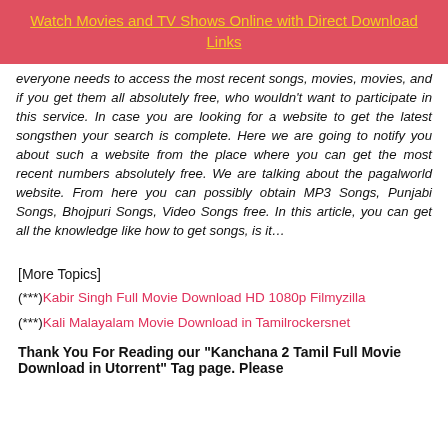Watch Movies and TV Shows Online with Direct Download Links
everyone needs to access the most recent songs, movies, movies, and if you get them all absolutely free, who wouldn't want to participate in this service. In case you are looking for a website to get the latest songsthen your search is complete. Here we are going to notify you about such a website from the place where you can get the most recent numbers absolutely free. We are talking about the pagalworld website. From here you can possibly obtain MP3 Songs, Punjabi Songs, Bhojpuri Songs, Video Songs free. In this article, you can get all the knowledge like how to get songs, is it…
[More Topics]
(***)Kabir Singh Full Movie Download HD 1080p Filmyzilla
(***)Kali Malayalam Movie Download in Tamilrockersnet
Thank You For Reading our "Kanchana 2 Tamil Full Movie Download in Utorrent" Tag page. Please